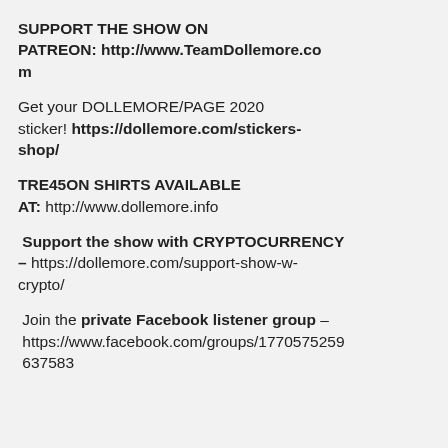SUPPORT THE SHOW ON PATREON: http://www.TeamDollemore.com
Get your DOLLEMORE/PAGE 2020 sticker! https://dollemore.com/stickers-shop/
TRE45ON SHIRTS AVAILABLE AT: http://www.dollemore.info
Support the show with CRYPTOCURRENCY – https://dollemore.com/support-show-w-crypto/
Join the private Facebook listener group – https://www.facebook.com/groups/1770575259637583